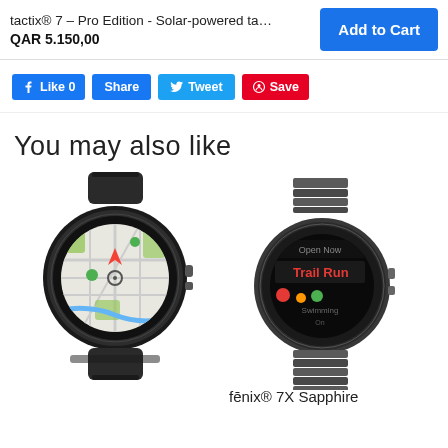tactix® 7 – Pro Edition - Solar-powered ta…
QAR 5.150,00
Add to Cart
Like 0
Share
Tweet
Save
You may also like
[Figure (photo): Garmin tactix 7 Pro Edition smartwatch with black band showing map on display]
[Figure (photo): Garmin fēnix 7X Sapphire smartwatch with metal band showing Trail Run activity on display]
fēnix® 7X Sapphire